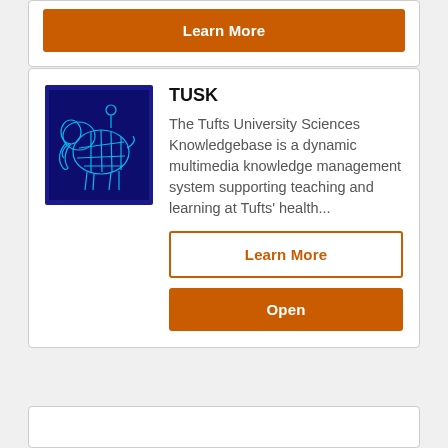[Figure (other): Orange 'Learn More' button (solid) from a partially visible card at top of page]
[Figure (illustration): TUSK logo: wireframe blue elephant on dark blue background]
TUSK
The Tufts University Sciences Knowledgebase is a dynamic multimedia knowledge management system supporting teaching and learning at Tufts' health...
Learn More
Open